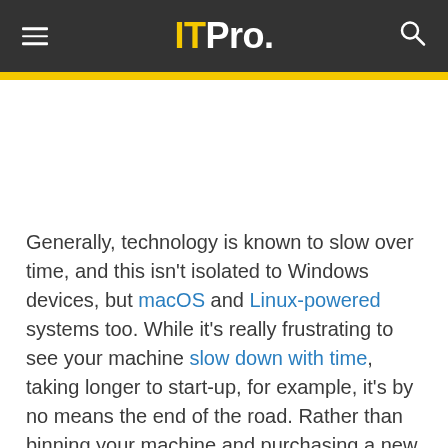ITPro.
Generally, technology is known to slow over time, and this isn't isolated to Windows devices, but macOS and Linux-powered systems too. While it's really frustrating to see your machine slow down with time, taking longer to start-up, for example, it's by no means the end of the road. Rather than binning your machine and purchasing a new one, there are a